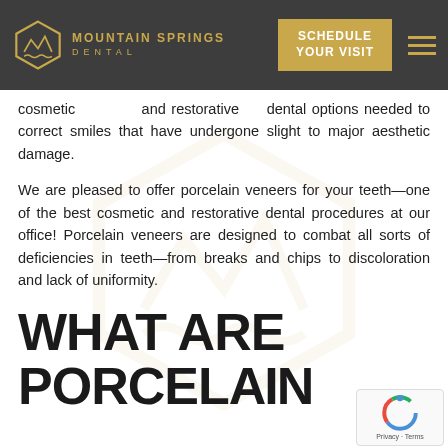[Figure (logo): Mountain Springs Dental logo with hexagon icon containing mountain/wave design and golden text, on dark grey header with Schedule Your Visit button]
cosmetic and restorative dental options needed to correct smiles that have undergone slight to major aesthetic damage.
We are pleased to offer porcelain veneers for your teeth—one of the best cosmetic and restorative dental procedures at our office! Porcelain veneers are designed to combat all sorts of deficiencies in teeth—from breaks and chips to discoloration and lack of uniformity.
WHAT ARE
PORCELAIN